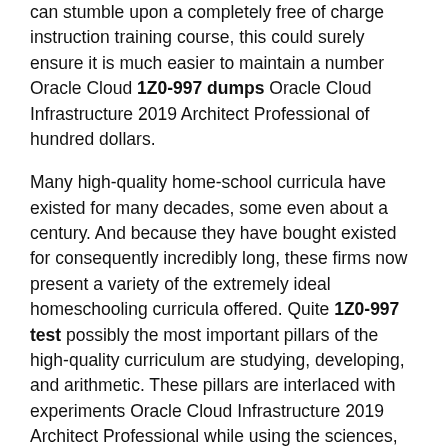can stumble upon a completely free of charge instruction training course, this could surely ensure it is much easier to maintain a number Oracle Cloud 1Z0-997 dumps Oracle Cloud Infrastructure 2019 Architect Professional of hundred dollars.
Many high-quality home-school curricula have existed for many decades, some even about a century. And because they have bought existed for consequently incredibly long, these firms now present a variety of the extremely ideal homeschooling curricula offered. Quite 1Z0-997 test possibly the most important pillars of the high-quality curriculum are studying, developing, and arithmetic. These pillars are interlaced with experiments Oracle Cloud Infrastructure 2019 Architect Professional while using the sciences, arts, qualifications, and geography to offer an effectively rounded educating approach. This curriculum